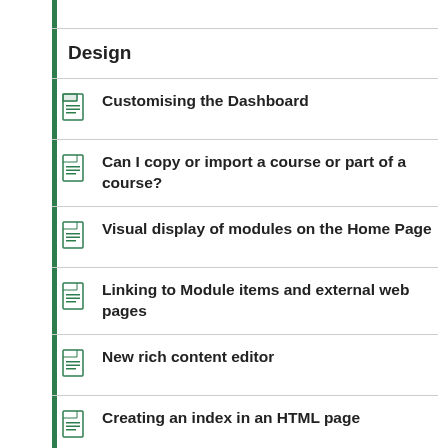Design
Customising the Dashboard
Can I copy or import a course or part of a course?
Visual display of modules on the Home Page
Linking to Module items and external web pages
New rich content editor
Creating an index in an HTML page